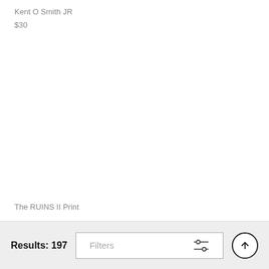Kent O Smith JR
$30
The RUINS II Print
Results: 197  Filters  ↑